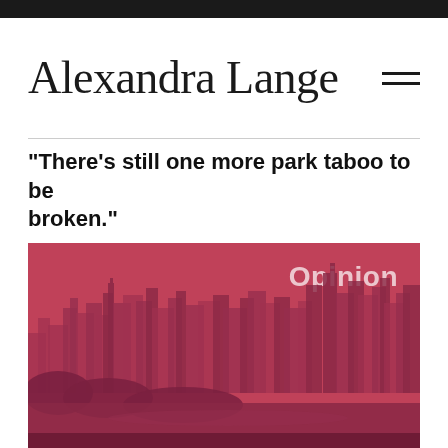Alexandra Lange
"There's still one more park taboo to be broken."
[Figure (photo): Pink/red tinted aerial photograph of a city skyline (appears to be New York City / Central Park area) with 'Opinion' label overlaid in white text on the upper right]